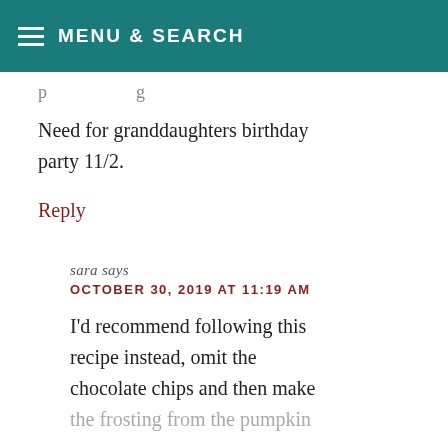MENU & SEARCH
p…g
Need for granddaughters birthday party 11/2.
Reply
sara says
OCTOBER 30, 2019 AT 11:19 AM
I'd recommend following this recipe instead, omit the chocolate chips and then make the frosting from the pumpkin